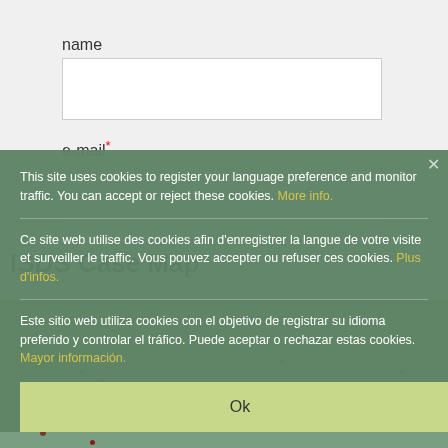name
e-mail*
ISDS Case Map
This site uses cookies to register your language preference and monitor traffic. You can accept or reject these cookies. More info.
Ce site web utilise des cookies afin d'enregistrer la langue de votre visite et surveiller le traffic. Vous pouvez accepter ou refuser ces cookies. Plus d'infos.
Este sitio web utiliza cookies con el objetivo de registrar su idioma preferido y controlar el tráfico. Puede aceptar o rechazar estas cookies. Mayor información.
Ok